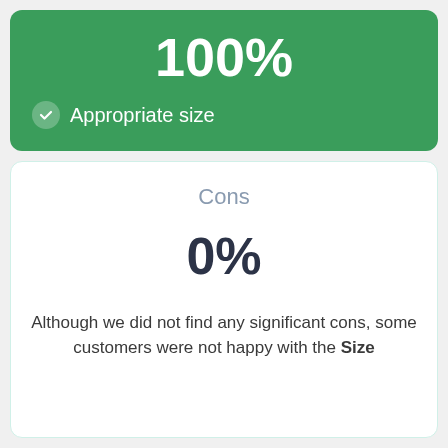100%
Appropriate size
Cons
0%
Although we did not find any significant cons, some customers were not happy with the Size